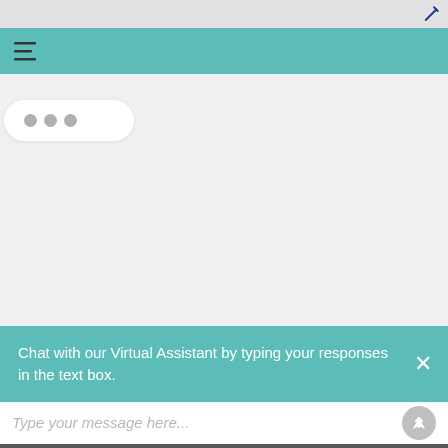[Figure (screenshot): Status bar - light gray top bar with pencil/edit icon in top right corner]
[Figure (screenshot): Teal navigation bar with hamburger menu (three horizontal lines) icon on the left]
[Figure (screenshot): Chat area with white typing indicator bubble containing three gray dots (loading animation)]
Chat with our Virtual Assistant by typing your responses in the text box.
Type your message here...
[Figure (logo): Marriott Vacations Worldwide logo in white text on dark gray background, with virtual assistant robot icon on right]
Links
Career Links